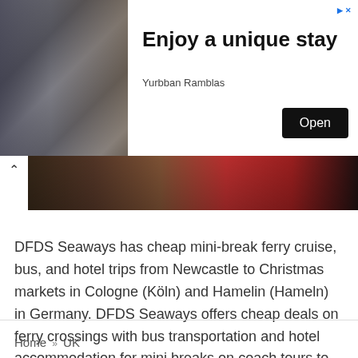[Figure (photo): Advertisement banner for Yurbban Ramblas hotel showing a luxury hotel room on the left, bold text 'Enjoy a unique stay', subtitle 'Yurbban Ramblas', and a black 'Open' button on the right.]
[Figure (photo): Partial article image showing a dark crowd scene with red tones, with a chevron/up-arrow icon on the left.]
DFDS Seaways has cheap mini-break ferry cruise, bus, and hotel trips from Newcastle to Christmas markets in Cologne (Köln) and Hamelin (Hameln) in Germany. DFDS Seaways offers cheap deals on ferry crossings with bus transportation and hotel accommodation for mini breaks on coach tours to Christmas markets in Germany departing from Newcastle. These four-night breaks include … [Read more...]
Home » UK